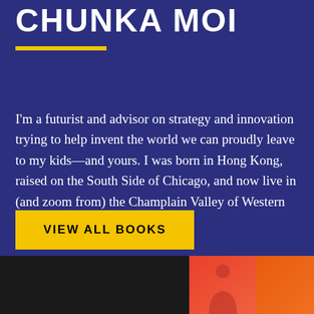CHUNKA MOI
I'm a futurist and advisor on strategy and innovation trying to help invent the world we can proudly leave to my kids—and yours. I was born in Hong Kong, raised on the South Side of Chicago, and now live in (and zoom from) the Champlain Valley of Western Vermont.
VIEW ALL BOOKS
[Figure (photo): Three-panel photo strip at bottom: dark silhouette on left, person against red/orange background in center, orange gradient panel on right]